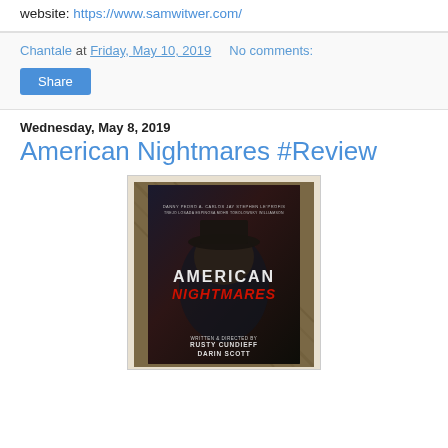website: https://www.samwitwer.com/
Chantale at Friday, May 10, 2019   No comments:
Share
Wednesday, May 8, 2019
American Nightmares #Review
[Figure (photo): Photo of American Nightmares DVD case lying on a brown textured fabric surface. The cover shows a dark-lit figure wearing a hat. Title text reads 'AMERICAN NIGHTMARES' in white and red. Bottom credits read 'WRITTEN & DIRECTED BY RUSTY CUNDIEFF DARIN SCOTT'.]